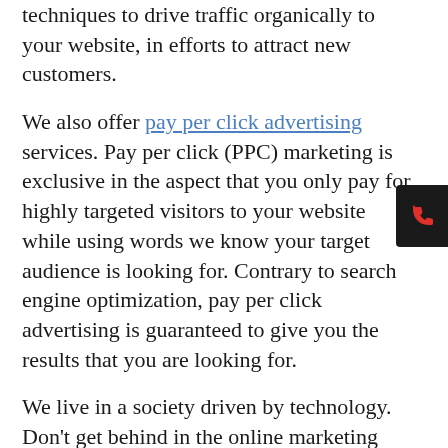techniques to drive traffic organically to your website, in efforts to attract new customers.
We also offer pay per click advertising services. Pay per click (PPC) marketing is exclusive in the aspect that you only pay for highly targeted visitors to your website while using words we know your target audience is looking for. Contrary to search engine optimization, pay per click advertising is guaranteed to give you the results that you are looking for.
We live in a society driven by technology. Don't get behind in the online marketing technology game